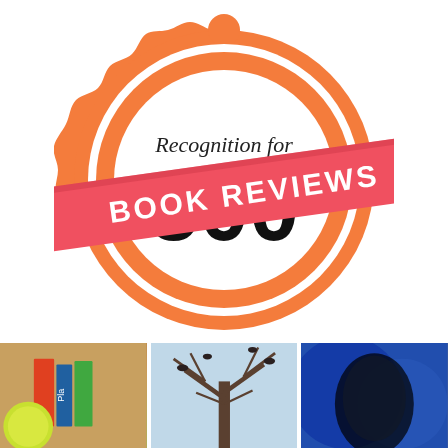[Figure (illustration): Orange scalloped badge/seal with text 'Recognition for 500 BOOK REVIEWS'. The badge has a scalloped orange outer ring, a white ring, and inner orange circle. A diagonal red/pink ribbon banner crosses the badge reading 'BOOK REVIEWS' in bold white text. '500' appears in large bold black text, and 'Recognition for' appears in italic script above it.]
[Figure (photo): Three thumbnail photos at the bottom of the page: left shows books and a citrus fruit, center shows bare winter tree branches with birds, right shows a close-up of a blue and fuzzy object.]